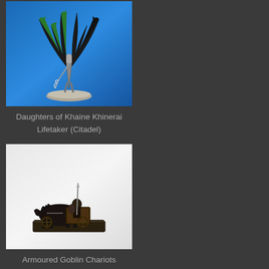[Figure (photo): A painted fantasy miniature figure of Daughters of Khaine Khinerai Lifetaker on a blue background. The miniature features a winged creature with green and dark wings on a grey base.]
Daughters of Khaine Khinerai Lifetaker (Citadel)
[Figure (photo): A painted fantasy miniature of Armoured Goblin Chariots on a light/white background. The miniature shows a dark-colored chariot with a goblin rider and a horse-like creature on a rectangular base.]
Armoured Goblin Chariots (Alternative Armies)